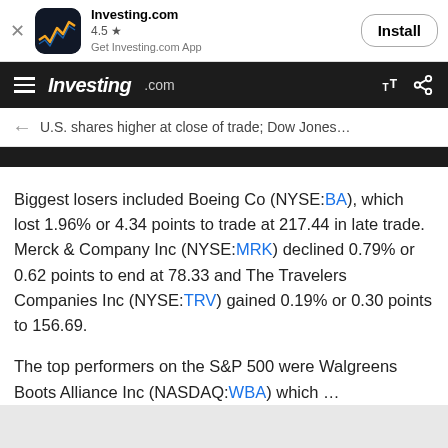[Figure (screenshot): Investing.com app install banner with app icon, 4.5 star rating, and Install button]
Investing.com — hamburger menu, logo, font size and share icons
U.S. shares higher at close of trade; Dow Jones…
Biggest losers included Boeing Co (NYSE:BA), which lost 1.96% or 4.34 points to trade at 217.44 in late trade. Merck & Company Inc (NYSE:MRK) declined 0.79% or 0.62 points to end at 78.33 and The Travelers Companies Inc (NYSE:TRV) gained 0.19% or 0.30 points to 156.69.
The top performers on the S&P 500 were Walgreens Boots Alliance Inc (NASDAQ:WBA) which …